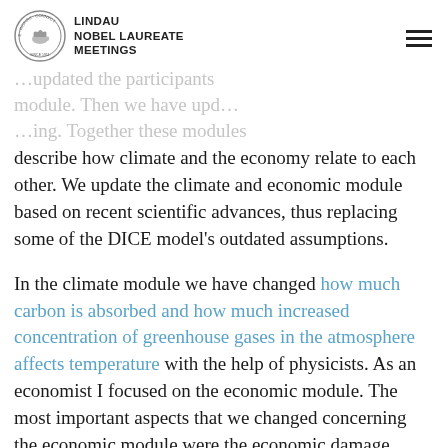LINDAU NOBEL LAUREATE MEETINGS
describe how climate and the economy relate to each other. We update the climate and economic module based on recent scientific advances, thus replacing some of the DICE model's outdated assumptions.

In the climate module we have changed how much carbon is absorbed and how much increased concentration of greenhouse gases in the atmosphere affects temperature with the help of physicists. As an economist I focused on the economic module. The most important aspects that we changed concerning the economic module were the economic damage function which gives evidence about how an increase in temperature affects global GDP. And we have also changed the social discount rate that explains how the present generation values future welfare or economic impact of climate change.